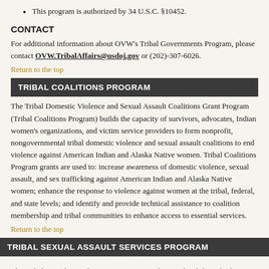This program is authorized by 34 U.S.C. §10452.
CONTACT
For additional information about OVW's Tribal Governments Program, please contact OVW.TribalAffairs@usdoj.gov or (202)-307-6026.
Return to the top
TRIBAL COALITIONS PROGRAM
The Tribal Domestic Violence and Sexual Assault Coalitions Grant Program (Tribal Coalitions Program) builds the capacity of survivors, advocates, Indian women's organizations, and victim service providers to form nonprofit, nongovernmental tribal domestic violence and sexual assault coalitions to end violence against American Indian and Alaska Native women. Tribal Coalitions Program grants are used to: increase awareness of domestic violence, sexual assault, and sex trafficking against American Indian and Alaska Native women; enhance the response to violence against women at the tribal, federal, and state levels; and identify and provide technical assistance to coalition membership and tribal communities to enhance access to essential services.
Return to the top
TRIBAL SEXUAL ASSAULT SERVICES PROGRAM
The Tribal Sexual Assault Services Program enhances the ability of tribes to